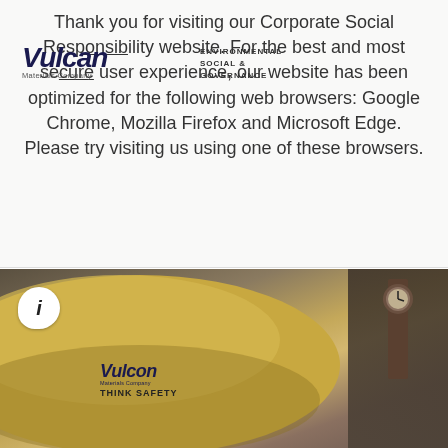[Figure (logo): Vulcan Materials Company logo with text overlaid on the navigation area showing ENVIRONMENTAL, SOCIAL & GOVERNANCE]
Thank you for visiting our Corporate Social Responsibility website. For the best and most secure user experience, our website has been optimized for the following web browsers: Google Chrome, Mozilla Firefox and Microsoft Edge. Please try visiting us using one of these browsers.
[Figure (photo): Photo of a worker wearing a gold Vulcan Materials Company hard hat with 'THINK SAFETY' text, viewed from behind, with industrial background including a clock. An info icon speech bubble appears in the top left.]